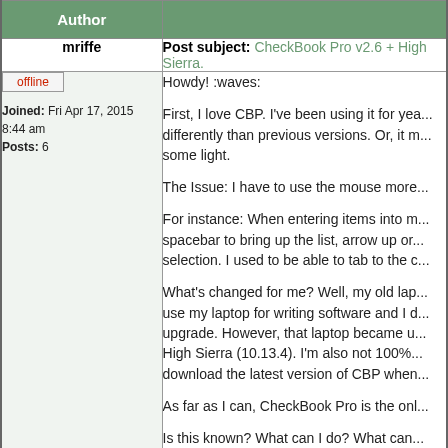| Author |  |
| --- | --- |
| mriffe | Post subject: CheckBook Pro v2.6 + High Sierra. |
| offline
Joined: Fri Apr 17, 2015 8:44 am
Posts: 6 | Howdy! :waves:

First, I love CBP. I've been using it for yea... differently than previous versions. Or, it m... some light.

The Issue: I have to use the mouse more...

For instance: When entering items into m... spacebar to bring up the list, arrow up or... selection. I used to be able to tab to the c...

What's changed for me? Well, my old lap... use my laptop for writing software and I d... upgrade. However, that laptop became u... High Sierra (10.13.4). I'm also not 100%... download the latest version of CBP when...

As far as I can, CheckBook Pro is the onl...

Is this known? What can I do? What can... |